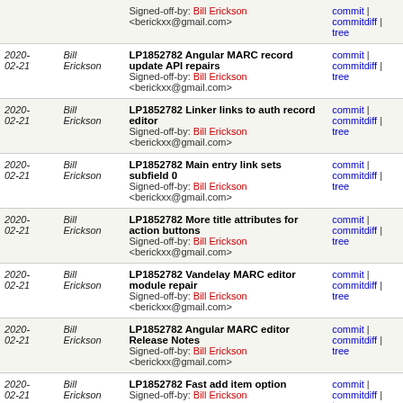| Date | Author | Commit message | Links |
| --- | --- | --- | --- |
| 2020-02-21 | Bill Erickson | LP1852782 Angular MARC record update API repairs
Signed-off-by: Bill Erickson <berickxx@gmail.com> | commit | commitdiff | tree |
| 2020-02-21 | Bill Erickson | LP1852782 Linker links to auth record editor
Signed-off-by: Bill Erickson <berickxx@gmail.com> | commit | commitdiff | tree |
| 2020-02-21 | Bill Erickson | LP1852782 Main entry link sets subfield 0
Signed-off-by: Bill Erickson <berickxx@gmail.com> | commit | commitdiff | tree |
| 2020-02-21 | Bill Erickson | LP1852782 More title attributes for action buttons
Signed-off-by: Bill Erickson <berickxx@gmail.com> | commit | commitdiff | tree |
| 2020-02-21 | Bill Erickson | LP1852782 Vandelay MARC editor module repair
Signed-off-by: Bill Erickson <berickxx@gmail.com> | commit | commitdiff | tree |
| 2020-02-21 | Bill Erickson | LP1852782 Angular MARC editor Release Notes
Signed-off-by: Bill Erickson <berickxx@gmail.com> | commit | commitdiff | tree |
| 2020-02-21 | Bill Erickson | LP1852782 Fast add item option
Signed-off-by: Bill Erickson | commit | commitdiff | tree |